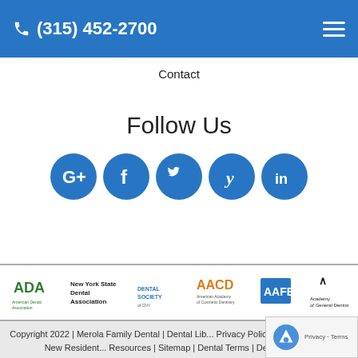(315) 452-2700
Contact
Follow Us
[Figure (infographic): Row of 5 social media icons (Google+, Facebook, Twitter, Yelp, LinkedIn) as blue circles]
[Figure (infographic): Row of 6 professional association logos: ADA, New York State Dental Association, Dental Society, American Academy of Cosmetic Dentistry (AACD), AAFE, Academy of General Dentistry]
Copyright 2022 | Merola Family Dental | Dental Lib... Privacy Policy | Terms of Service | New Resident... Resources | Sitemap | Dental Terms | Dental Librar...